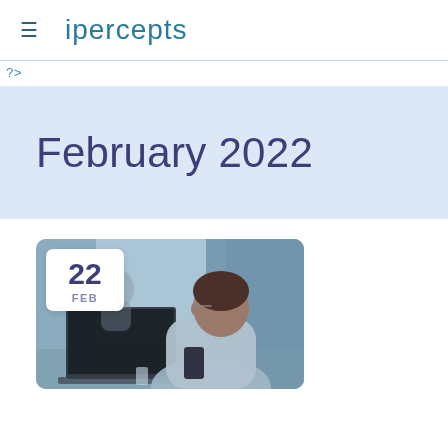ipercepts
?>
February 2022
[Figure (photo): A man sitting at a desk working on a laptop while holding a smartphone, with another person blurred in the background, in an office/cafe setting. A date badge showing '22 FEB' overlays the top-left corner of the image.]